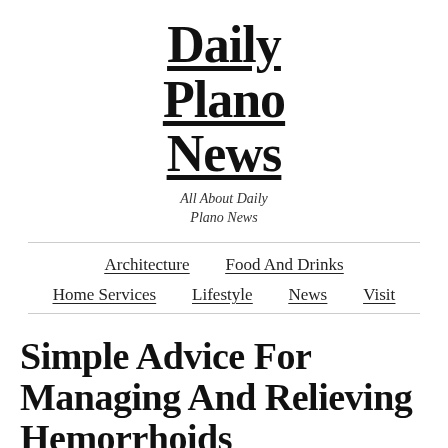Daily Plano News
All About Daily Plano News
Architecture   Food And Drinks   Home Services   Lifestyle   News   Visit
Simple Advice For Managing And Relieving Hemorrhoids